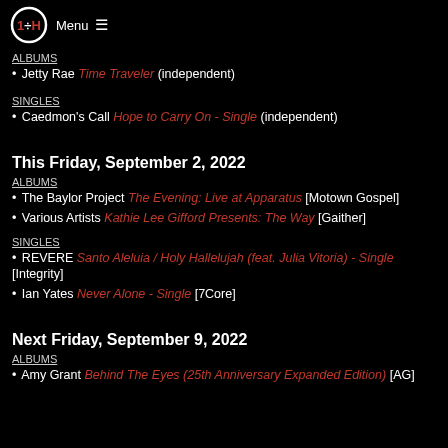Menu ☰
ALBUMS
Jetty Rae Time Traveler (independent)
SINGLES
Caedmon's Call Hope to Carry On - Single (independent)
This Friday, September 2, 2022
ALBUMS
The Baylor Project The Evening: Live at Apparatus [Motown Gospel]
Various Artists Kathie Lee Gifford Presents: The Way [Gaither]
SINGLES
REVERE Santo Aleluia / Holy Hallelujah (feat. Julia Vitoria) - Single [Integrity]
Ian Yates Never Alone - Single [7Core]
Next Friday, September 9, 2022
ALBUMS
Amy Grant Behind The Eyes (25th Anniversary Expanded Edition) [AG]